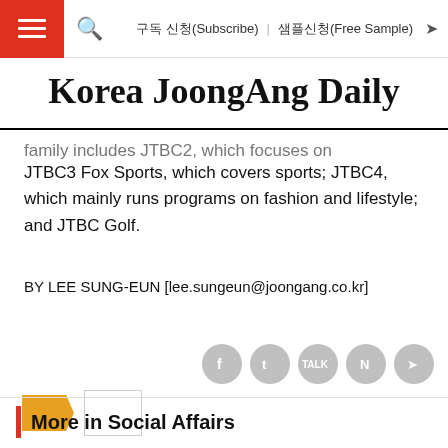≡  🔍  구독 신청(Subscribe)  샘플신청(Free Sample)  ➤
Korea JoongAng Daily
family includes JTBC2, which focuses on entertainment shows; JTBC3 Fox Sports, which covers sports; JTBC4, which mainly runs programs on fashion and lifestyle; and JTBC Golf.
BY LEE SUNG-EUN [lee.sungeun@joongang.co.kr]
More in Social Affairs